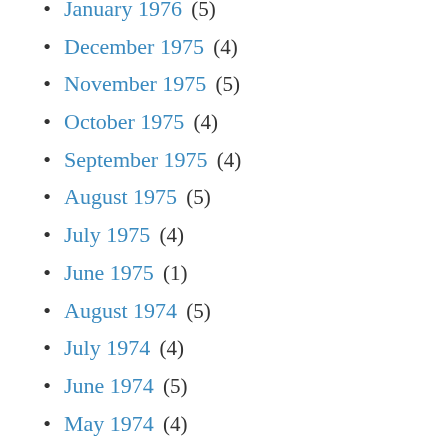January 1976 (5)
December 1975 (4)
November 1975 (5)
October 1975 (4)
September 1975 (4)
August 1975 (5)
July 1975 (4)
June 1975 (1)
August 1974 (5)
July 1974 (4)
June 1974 (5)
May 1974 (4)
April 1974 (4)
March 1974 (5)
February 1974 (4)
January 1974 (3)